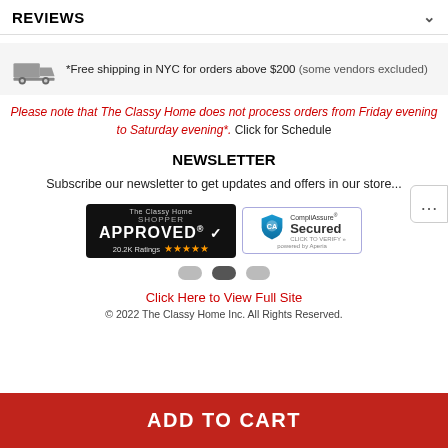REVIEWS
*Free shipping in NYC for orders above $200 (some vendors excluded)
Please note that The Classy Home does not process orders from Friday evening to Saturday evening*. Click for Schedule
NEWSLETTER
Subscribe our newsletter to get updates and offers in our store...
[Figure (logo): The Classy Home Shopper Approved badge with 20.2K Ratings and 5 stars]
[Figure (logo): CompliAssure Secured badge powered by Aperia]
Click Here to View Full Site
© 2022 The Classy Home Inc. All Rights Reserved.
ADD TO CART